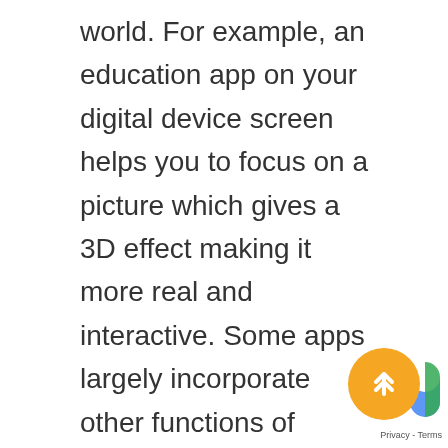world. For example, an education app on your digital device screen helps you to focus on a picture which gives a 3D effect making it more real and interactive. Some apps largely incorporate other functions of description and audios. Similarly, the human body anatomy can be easily understood through AR as compared to just reading notes in a book. While VR (virtual reality) on the other hand has been a vastly used technology in schools for learning and some schools have even started using Google Expeditions to transport students to varied places on the planet through this technology. Education app for kids: Here are some of the most commonly used app in the field of education today. Virtual Learning based...